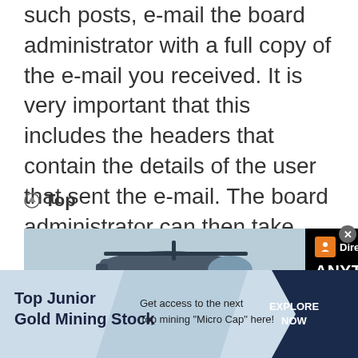such posts, e-mail the board administrator with a full copy of the e-mail you received. It is very important that this includes the headers that contain the details of the user that sent the e-mail. The board administrator can then take action.
Top
[Figure (photo): Advertisement banner: left half shows a photo of military helicopter being loaded with cargo boxes by personnel on a tarmac; right half is black background with Direct Relief logo (orange square with white cross/figure), and text 'ANYTIME. ANYWHERE. ANYONE IN NEED.']
[Figure (infographic): Bottom advertisement banner for Top Junior Gold Mining Stock with light blue and dark navy background, text 'Top Junior Gold Mining Stock' on left, 'Get access to the next Top mining "Micro Cap" here!' in middle, and 'EXPLORE NOW' button on dark right side. Close button (x) visible at top right.]